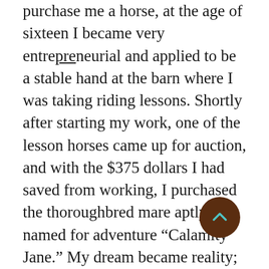purchase me a horse, at the age of sixteen I became very entrepreneurial and applied to be a stable hand at the barn where I was taking riding lessons. Shortly after starting my work, one of the lesson horses came up for auction, and with the $375 dollars I had saved from working, I purchased the thoroughbred mare aptly named for adventure “Calamity Jane.” My dream became reality; my “what if” was now real. I could tell everyone that C.J. is my horse. She was all mine. And she knew it too.
    C.J. was “privately-owned.” Dressed in all new hunter green tack, she pranced around the paddock like Queen Bee and chased all the other mares away so she would be brought in first. My greatest day was when I went through the tack trailer, threw open the back door near the mare’s